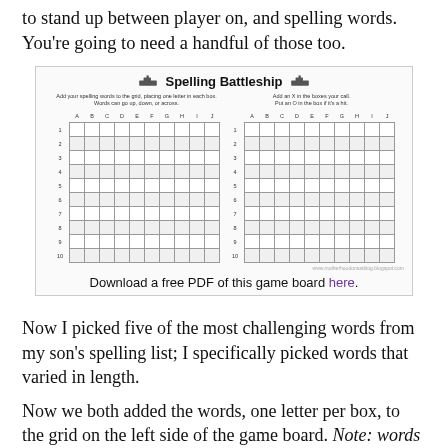to stand up between player on, and spelling words. You're going to need a handful of those too.
[Figure (other): Spelling Battleship game board showing two grids (10x10 each, columns A-J, rows 1-10) with instructions to place spelling words on the grid one letter per box. Below the image is a link to download a free PDF of this game board.]
Download a free PDF of this game board here.
Now I picked five of the most challenging words from my son's spelling list; I specifically picked words that varied in length.
Now we both added the words, one letter per box, to the grid on the left side of the game board. Note: words should not